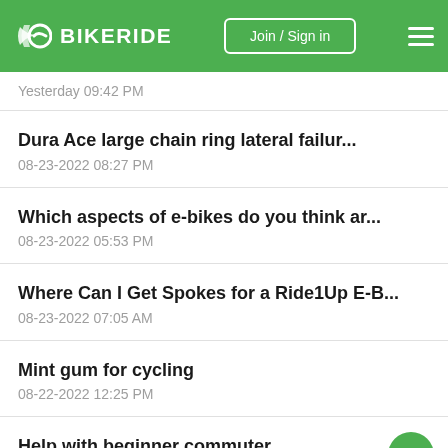BIKERIDE — Join / Sign in
Yesterday 09:42 PM
Dura Ace large chain ring lateral failur...
08-23-2022 08:27 PM
Which aspects of e-bikes do you think ar...
08-23-2022 05:53 PM
Where Can I Get Spokes for a Ride1Up E-B...
08-23-2022 07:05 AM
Mint gum for cycling
08-22-2022 12:25 PM
Help with beginner commuter
08-21-2022 09:08 PM